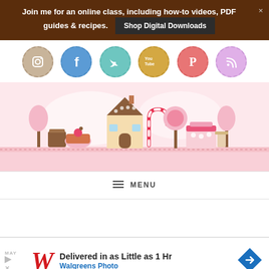Join me for an online class, including how-to videos, PDF guides & recipes. Shop Digital Downloads ×
[Figure (infographic): Row of six circular social media icons with dashed borders: Instagram (beige), Facebook (blue), Twitter (teal), YouTube (gold), Pinterest (red/pink), RSS (lavender)]
[Figure (illustration): Sweetopia branded banner with pink background showing illustrated candy-themed village with gingerbread house, cupcakes, trees, and candy canes. 'Sweetopia' text on a ribbon banner.]
≡ MENU
[Figure (screenshot): Advertisement: Walgreens Photo - Delivered in as Little as 1 Hr with navigation arrow icon]